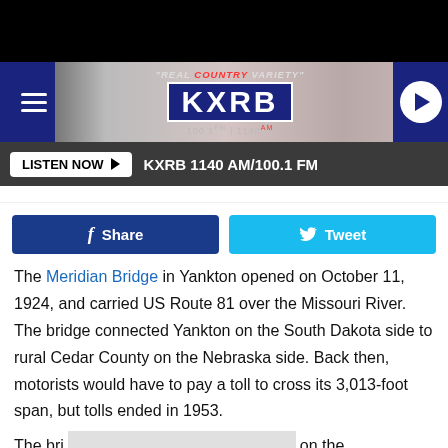[Figure (screenshot): KXRB radio station website header with logo, tagline 'REAL COUNTRY VARIETY', frequency 100.1 FM | 1140 AM, play button, hamburger menu, and background image]
LISTEN NOW ▶   KXRB 1140 AM/100.1 FM
[Figure (screenshot): Social sharing buttons: Facebook Share button (dark blue) and Twitter Tweet button (cyan blue)]
The Meridian Bridge in Yankton opened on October 11, 1924, and carried US Route 81 over the Missouri River. The bridge connected Yankton on the South Dakota side to rural Cedar County on the Nebraska side. Back then, motorists would have to pay a toll to cross its 3,013-foot span, but tolls ended in 1953.
The bri[...obscured...]on the lower l[...obscured...]meant